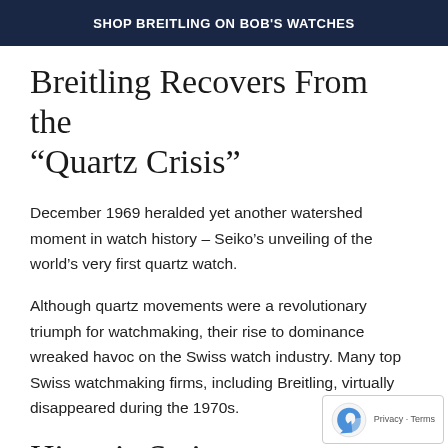SHOP BREITLING ON BOB'S WATCHES
Breitling Recovers From the “Quartz Crisis”
December 1969 heralded yet another watershed moment in watch history – Seiko’s unveiling of the world’s very first quartz watch.
Although quartz movements were a revolutionary triumph for watchmaking, their rise to dominance wreaked havoc on the Swiss watch industry. Many top Swiss watchmaking firms, including Breitling, virtually disappeared during the 1970s.
Historic Swiss Watchmaking